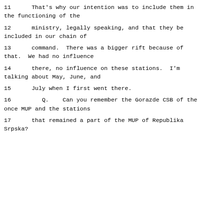11      That's why our intention was to include them in the functioning of the
12      ministry, legally speaking, and that they be included in our chain of
13      command.  There was a bigger rift because of that.  We had no influence
14      there, no influence on these stations.  I'm talking about May, June, and
15      July when I first went there.
16         Q.    Can you remember the Gorazde CSB of the once MUP and the stations
17      that remained a part of the MUP of Republika Srpska?